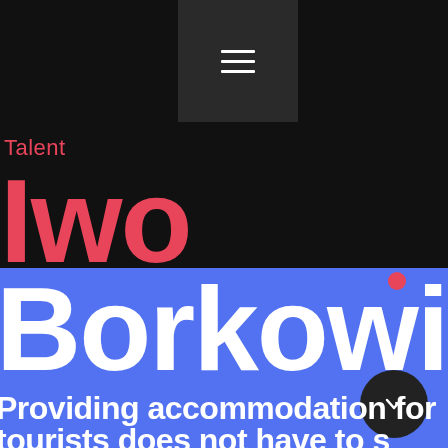[Figure (screenshot): Navigation menu button with three horizontal white lines on dark gray background]
Talent
Iwo
Borkowicz
Providing accommodation for tourists does not have to...